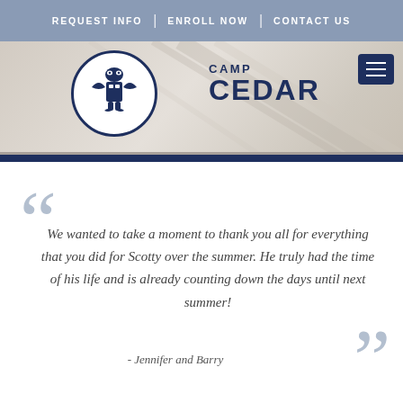REQUEST INFO | ENROLL NOW | CONTACT US
[Figure (logo): Camp Cedar logo with circular emblem featuring a totem pole design, and text reading CAMP CEDAR in navy blue]
We wanted to take a moment to thank you all for everything that you did for Scotty over the summer. He truly had the time of his life and is already counting down the days until next summer!
- Jennifer and Barry